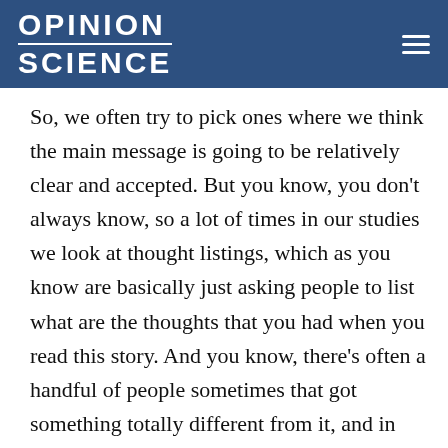OPINION SCIENCE
So, we often try to pick ones where we think the main message is going to be relatively clear and accepted. But you know, you don't always know, so a lot of times in our studies we look at thought listings, which as you know are basically just asking people to list what are the thoughts that you had when you read this story. And you know, there's often a handful of people sometimes that got something totally different from it, and in some cases this is just okay, you weren't paying enough attention, but in other cases it's like okay, maybe they've had